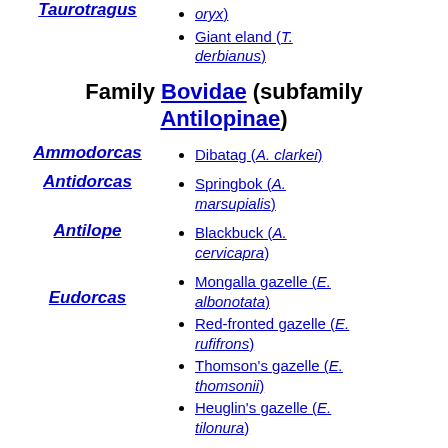oryx)
Taurotragus
Giant eland (T. derbianus)
Family Bovidae (subfamily Antilopinae)
Ammodorcas
Dibatag (A. clarkei)
Antidorcas
Springbok (A. marsupialis)
Antilope
Blackbuck (A. cervicapra)
Eudorcas
Mongalla gazelle (E. albonotata)
Red-fronted gazelle (E. rufifrons)
Thomson's gazelle (E. thomsonii)
Heuglin's gazelle (E. tilonura)
Mountain gazelle (G. gazella)
Edmi gazelle (G. ...